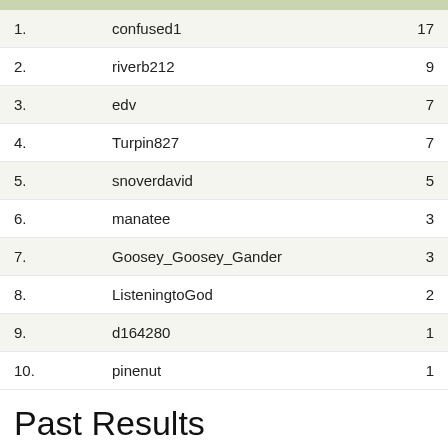| Rank | Username | Score |
| --- | --- | --- |
| 1. | confused1 | 17 |
| 2. | riverb212 | 9 |
| 3. | edv | 7 |
| 4. | Turpin827 | 7 |
| 5. | snoverdavid | 5 |
| 6. | manatee | 3 |
| 7. | Goosey_Goosey_Gander | 3 |
| 8. | ListeningtoGod | 2 |
| 9. | d164280 | 1 |
| 10. | pinenut | 1 |
Past Results
| Date | Winner | Streak |
| --- | --- | --- |